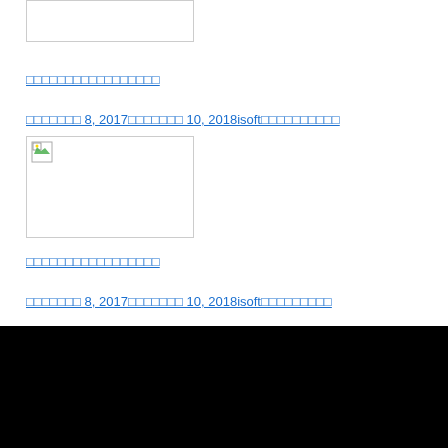[Figure (other): Top image placeholder box, empty white rectangle with border]
□□□□□□□□□□□□□□□□□
□□□□□□□ 8, 2017□□□□□□□ 10, 2018isoft□□□□□□□□□□
[Figure (other): Middle image placeholder box with broken image icon]
□□□□□□□□□□□□□□□□□
□□□□□□□ 8, 2017□□□□□□□ 10, 2018isoft□□□□□□□□□
□□□□□□□□□□□□□□